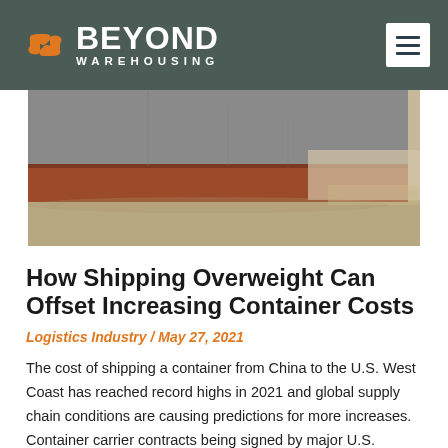Beyond Warehousing
[Figure (photo): Close-up photograph of a large shipping vessel hull at waterline, showing rust-colored lower hull and gray upper structure, with calm water visible in background]
How Shipping Overweight Can Offset Increasing Container Costs
Logistics Industry / May 27, 2021
The cost of shipping a container from China to the U.S. West Coast has reached record highs in 2021 and global supply chain conditions are causing predictions for more increases. Container carrier contracts being signed by major U.S. importers suggests that these increased rates are...